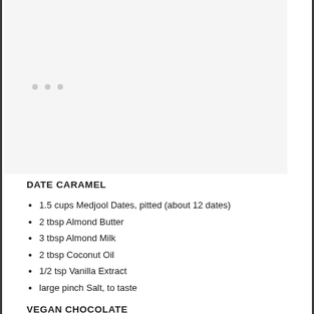[Figure (photo): Image placeholder area with three light gray dots centered in the middle]
DATE CARAMEL
1.5 cups Medjool Dates, pitted (about 12 dates)
2 tbsp Almond Butter
3 tbsp Almond Milk
2 tbsp Coconut Oil
1/2 tsp Vanilla Extract
large pinch Salt, to taste
VEGAN CHOCOLATE